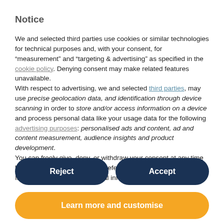Notice
We and selected third parties use cookies or similar technologies for technical purposes and, with your consent, for “measurement” and “targeting & advertising” as specified in the cookie policy. Denying consent may make related features unavailable. With respect to advertising, we and selected third parties, may use precise geolocation data, and identification through device scanning in order to store and/or access information on a device and process personal data like your usage data for the following advertising purposes: personalised ads and content, ad and content measurement, audience insights and product development. You can freely give, deny, or withdraw your consent at any time by accessing the advertising preferences panel. In case of sale of your personal information, you may opt out by
Reject
Accept
Learn more and customise